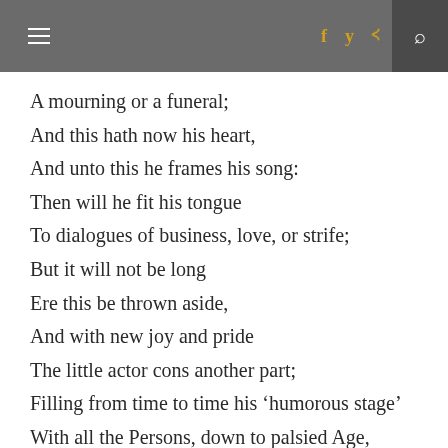≡ f y ))) Q
A mourning or a funeral;
And this hath now his heart,
And unto this he frames his song:
Then will he fit his tongue
To dialogues of business, love, or strife;
But it will not be long
Ere this be thrown aside,
And with new joy and pride
The little actor cons another part;
Filling from time to time his ‘humorous stage’
With all the Persons, down to palsied Age,
That Life brings with her in her equipage;
As if his whole vocation